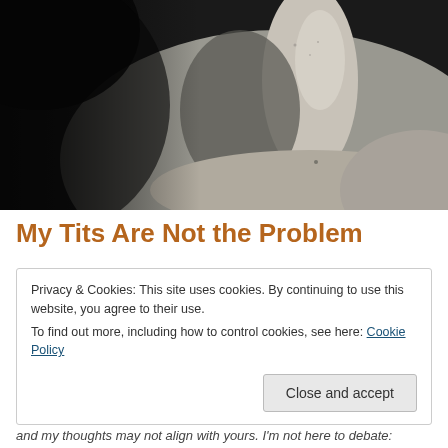[Figure (photo): Black and white close-up photograph of a human neck and collarbone area, grayscale tones ranging from deep black to light gray skin tones]
My Tits Are Not the Problem
Privacy & Cookies: This site uses cookies. By continuing to use this website, you agree to their use.
To find out more, including how to control cookies, see here: Cookie Policy
Close and accept
and my thoughts may not align with yours. I'm not here to debate: